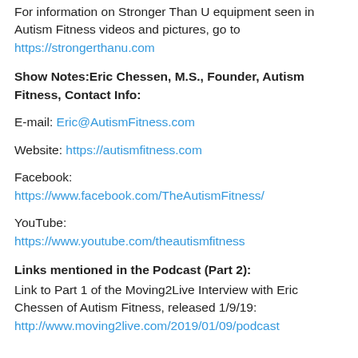For information on Stronger Than U equipment seen in Autism Fitness videos and pictures, go to https://strongerthanu.com
Show Notes:Eric Chessen, M.S., Founder, Autism Fitness, Contact Info:
E-mail: Eric@AutismFitness.com
Website: https://autismfitness.com
Facebook: https://www.facebook.com/TheAutismFitness/
YouTube: https://www.youtube.com/theautismfitness
Links mentioned in the Podcast (Part 2):
Link to Part 1 of the Moving2Live Interview with Eric Chessen of Autism Fitness, released 1/9/19: http://www.moving2live.com/2019/01/09/podcast